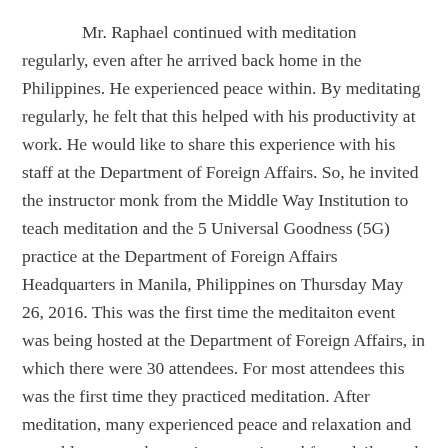Mr. Raphael continued with meditation regularly, even after he arrived back home in the Philippines. He experienced peace within. By meditating regularly, he felt that this helped with his productivity at work. He would like to share this experience with his staff at the Department of Foreign Affairs. So, he invited the instructor monk from the Middle Way Institution to teach meditation and the 5 Universal Goodness (5G) practice at the Department of Foreign Affairs Headquarters in Manila, Philippines on Thursday May 26, 2016. This was the first time the meditaiton event was being hosted at the Department of Foreign Affairs, in which there were 30 attendees. For most attendees this was the first time they practiced meditation. After meditation, many experienced peace and relaxation and was able to ease the tension experienced from daily work related tasks. Most were impressed with the simplicity of meditation, yet effective. After the event was concluded, the attendees